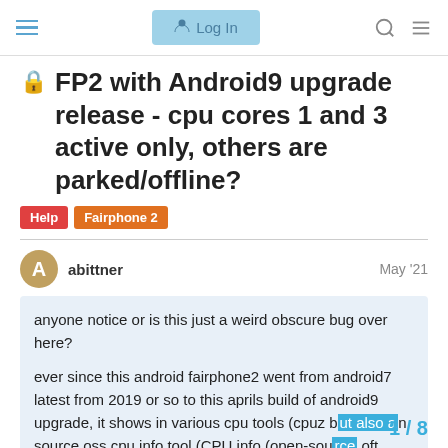Log In
🔒 FP2 with Android9 upgrade release - cpu cores 1 and 3 active only, others are parked/offline?
Help
Fairphone 2
abittner   May '21
anyone notice or is this just a weird obscure bug over here?

ever since this android fairphone2 went from android7 latest from 2019 or so to this aprils build of android9 upgrade, it shows in various cpu tools (cpuz but also an source oss cpu info tool (CPU info (open-sou   oft.

apparently two of the four total cpu cor
1 / 8